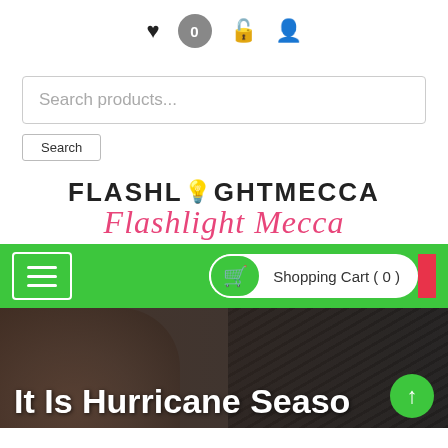[Figure (screenshot): Top navigation icon bar with heart, circle with 0, lock, and user icons]
[Figure (screenshot): Search products input field with Search button below it]
[Figure (logo): Flashlight Mecca logo: uppercase wordmark with lightbulb icon and italic pink text 'Flashlight Mecca' beneath]
[Figure (screenshot): Green navigation bar with hamburger menu button on left and Shopping Cart (0) button on right with red end cap]
It Is Hurricane Season
[Figure (photo): Dark hero image showing a hand holding a flashlight against a dark textured background, with title 'It Is Hurricane Season' overlaid in white]